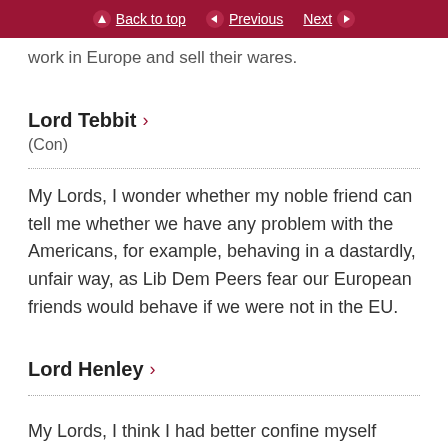Back to top  Previous  Next
...answered from the assisted industry are able to work in Europe and sell their wares.
Lord Tebbit ›
(Con)
My Lords, I wonder whether my noble friend can tell me whether we have any problem with the Americans, for example, behaving in a dastardly, unfair way, as Lib Dem Peers fear our European friends would behave if we were not in the EU.
Lord Henley ›
My Lords, I think I had better confine myself purely...